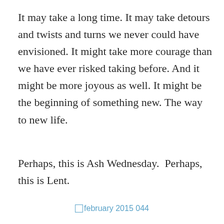It may take a long time. It may take detours and twists and turns we never could have envisioned. It might take more courage than we have ever risked taking before. And it might be more joyous as well. It might be the beginning of something new. The way to new life.
Perhaps, this is Ash Wednesday.  Perhaps, this is Lent.
february 2015 044